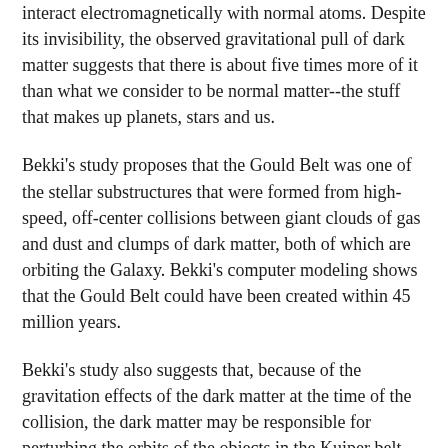interact electromagnetically with normal atoms. Despite its invisibility, the observed gravitational pull of dark matter suggests that there is about five times more of it than what we consider to be normal matter--the stuff that makes up planets, stars and us.
Bekki’s study proposes that the Gould Belt was one of the stellar substructures that were formed from high-speed, off-center collisions between giant clouds of gas and dust and clumps of dark matter, both of which are orbiting the Galaxy. Bekki’s computer modeling shows that the Gould Belt could have been created within 45 million years.
Bekki’s study also suggests that, because of the gravitation effects of the dark matter at the time of the collision, the dark matter may be responsible for perturbing the orbits of the objects in the Kuiper belt, causing them to fall toward the sun and creating a wave of comets in the inner solar system over the last several million years.
Bekki admits that these are speculations. However, he notes that if the Milky Way has 20 dark matter clumps surrounding it, Bekki reasons that a Gould Belt-like ring of stars would be likely to form from dark matter collisions every billions years or so, and that